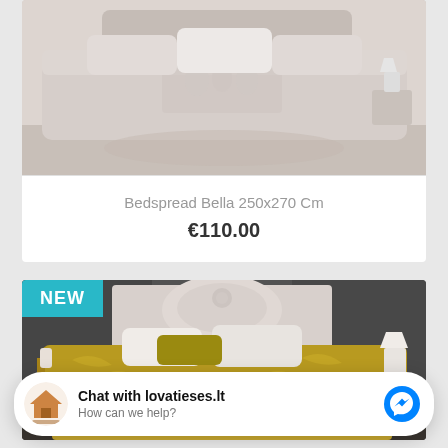[Figure (photo): Photo of a light gray/lavender bedspread with floral embroidery pattern on a bed, bedroom background]
Bedspread Bella 250x270 Cm
€110.00
[Figure (photo): Photo of a bed with olive/gold patterned bedspread and decorative pillows, dark gray wall background, with NEW badge overlay]
Chat with lovatieses.lt
How can we help?